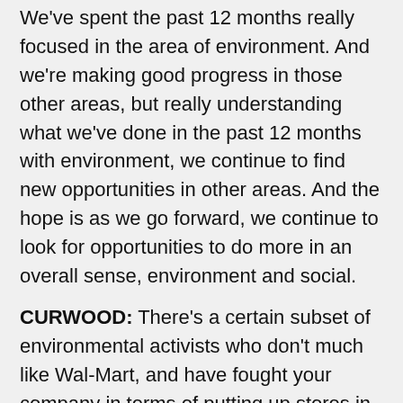We've spent the past 12 months really focused in the area of environment. And we're making good progress in those other areas, but really understanding what we've done in the past 12 months with environment, we continue to find new opportunities in other areas. And the hope is as we go forward, we continue to look for opportunities to do more in an overall sense, environment and social.
CURWOOD: There's a certain subset of environmental activists who don't much like Wal-Mart, and have fought your company in terms of putting up stores in communities and such. What kind of response are you getting from those environmental critics of Wal-Mart to these new lines that you are introducing?
RUBEN: I think it really depends on the critic. And what we have found is there are a lot of our critics out there